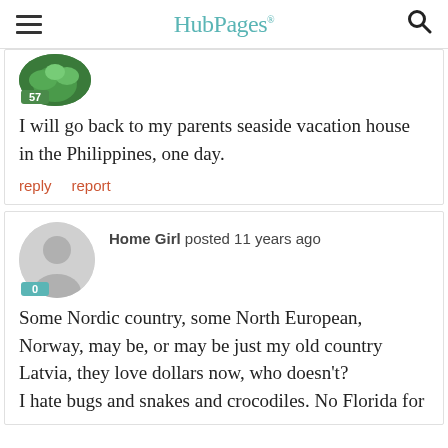HubPages
[Figure (other): Partial comment card showing top of avatar with green plant image and badge number 57]
I will go back to my parents seaside vacation house in the Philippines, one day.
reply   report
[Figure (other): User avatar placeholder (grey circle with silhouette) with badge number 0]
Home Girl posted 11 years ago
Some Nordic country, some North European, Norway, may be, or may be just my old country Latvia, they love dollars now, who doesn't?
I hate bugs and snakes and crocodiles. No Florida for